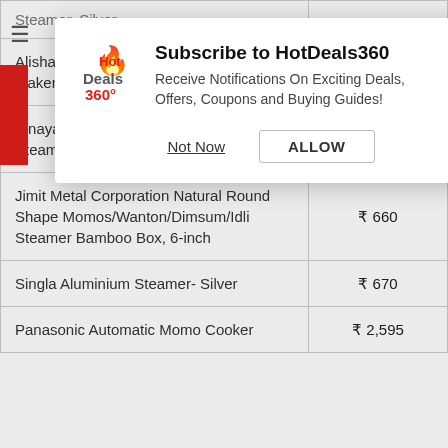[Figure (screenshot): HotDeals360 browser notification subscription modal popup with logo, title 'Subscribe to HotDeals360', description text, and two buttons: 'Not Now' and 'ALLOW']
| Product | Price |
| --- | --- |
| Steamer, Silver |  |
| Alisha Stainless Steel Steamers and Idli Maker (Silver) | ₹ 1,649 |
| Vinayak International Stainless Steel Steamer & Cook Set, 1 Piece, 4 L, Blue | ₹ 779 |
| Jimit Metal Corporation Natural Round Shape Momos/Wanton/Dimsum/Idli Steamer Bamboo Box, 6-inch | ₹ 660 |
| Singla Aluminium Steamer- Silver | ₹ 670 |
| Panasonic Automatic Momo Cooker | ₹ 2,595 |